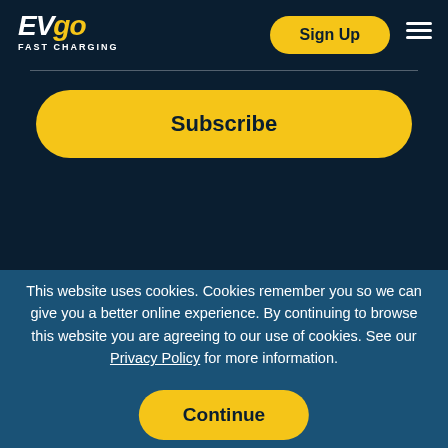[Figure (logo): EVgo FAST CHARGING logo in white and yellow on dark navy background]
Sign Up
Subscribe
This website uses cookies. Cookies remember you so we can give you a better online experience. By continuing to browse this website you are agreeing to our use of cookies. See our Privacy Policy for more information.
Continue